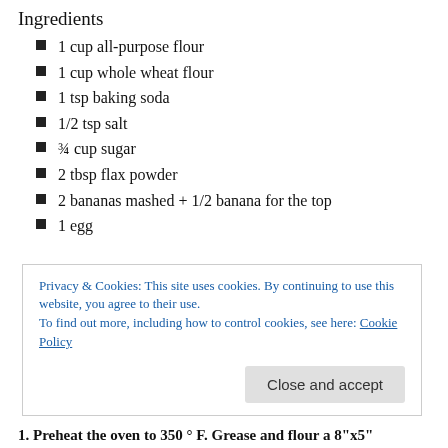Ingredients
1 cup all-purpose flour
1 cup whole wheat flour
1 tsp baking soda
1/2 tsp salt
¾ cup sugar
2 tbsp flax powder
2 bananas mashed + 1/2 banana for the top
1 egg
Privacy & Cookies: This site uses cookies. By continuing to use this website, you agree to their use.
To find out more, including how to control cookies, see here: Cookie Policy
1. Preheat the oven to 350 ° F. Grease and flour a 8"x5"